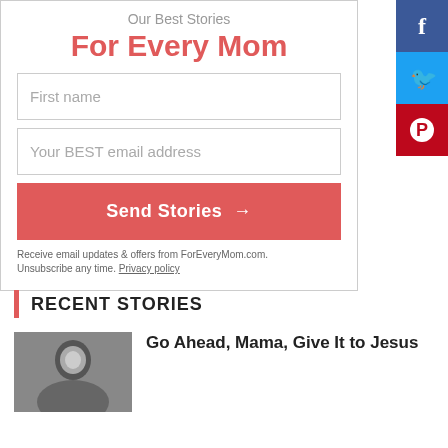Our Best Stories
For Every Mom
First name
Your BEST email address
Send Stories →
Receive email updates & offers from ForEveryMom.com. Unsubscribe any time. Privacy policy
[Figure (infographic): Facebook share button (blue)]
[Figure (infographic): Twitter share button (light blue)]
[Figure (infographic): Pinterest share button (red)]
RECENT STORIES
[Figure (photo): Black and white photo of a woman looking at camera]
Go Ahead, Mama, Give It to Jesus